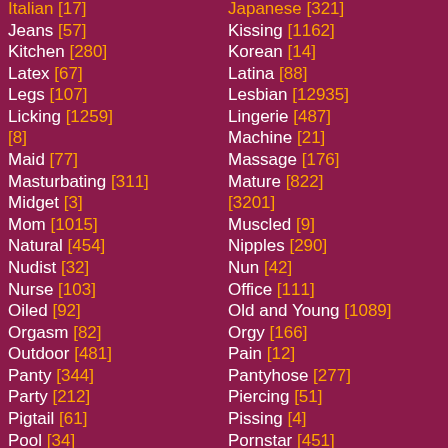Italian [17] (partial top, cut off)
Jeans [57]
Kitchen [280]
Latex [67]
Legs [107]
Licking [1259]
[8]
Maid [77]
Masturbating [311]
Midget [3]
Mom [1015]
Natural [454]
Nudist [32]
Nurse [103]
Oiled [92]
Orgasm [82]
Outdoor [481]
Panty [344]
Party [212]
Pigtail [61]
Pool [34]
Japanese [321] (partial top, cut off)
Kissing [1162]
Korean [14]
Latina [88]
Lesbian [12935]
Lingerie [487]
Machine [21]
Massage [176]
Mature [822]
[3201]
Muscled [9]
Nipples [290]
Nun [42]
Office [111]
Old and Young [1089]
Orgy [166]
Pain [12]
Pantyhose [277]
Piercing [51]
Pissing [4]
Pornstar [451]